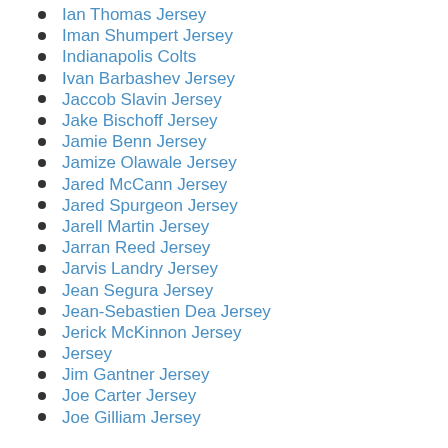Ian Thomas Jersey
Iman Shumpert Jersey
Indianapolis Colts
Ivan Barbashev Jersey
Jaccob Slavin Jersey
Jake Bischoff Jersey
Jamie Benn Jersey
Jamize Olawale Jersey
Jared McCann Jersey
Jared Spurgeon Jersey
Jarell Martin Jersey
Jarran Reed Jersey
Jarvis Landry Jersey
Jean Segura Jersey
Jean-Sebastien Dea Jersey
Jerick McKinnon Jersey
Jersey
Jim Gantner Jersey
Joe Carter Jersey
Joe Gilliam Jersey